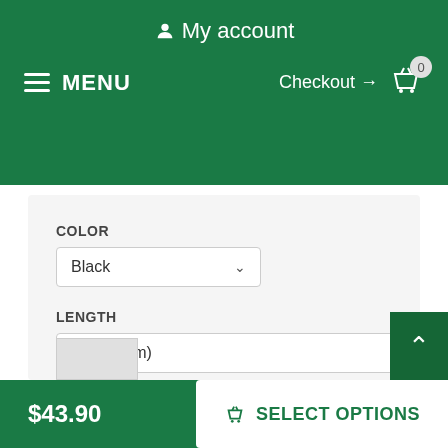My account
MENU
Checkout → 0
COLOR
Black
LENGTH
2 ft (60 cm)
SNAP HOOK
Solid brass snap hook
$43.90
SELECT OPTIONS